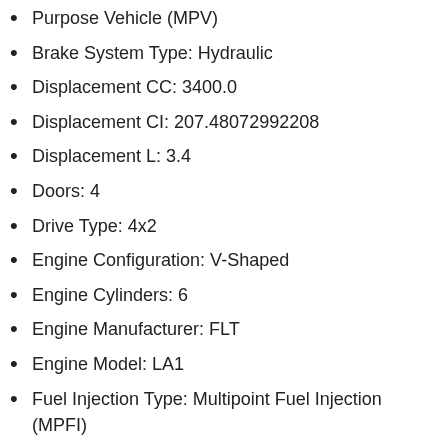Purpose Vehicle (MPV)
Brake System Type: Hydraulic
Displacement CC: 3400.0
Displacement CI: 207.48072992208
Displacement L: 3.4
Doors: 4
Drive Type: 4x2
Engine Configuration: V-Shaped
Engine Cylinders: 6
Engine Manufacturer: FLT
Engine Model: LA1
Fuel Injection Type: Multipoint Fuel Injection (MPFI)
GVWR: Class 1D: 5,001 - 6,000 lb (2,268 - 2,722 kg)
Make: PONTIAC
Manufacturer: GENERAL MOTORS LLC
Manufacturer Id: 984